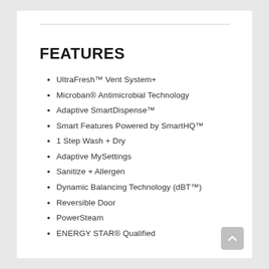FEATURES
UltraFresh™ Vent System+
Microban® Antimicrobial Technology
Adaptive SmartDispense™
Smart Features Powered by SmartHQ™
1 Step Wash + Dry
Adaptive MySettings
Sanitize + Allergen
Dynamic Balancing Technology (dBT™)
Reversible Door
PowerSteam
ENERGY STAR® Qualified